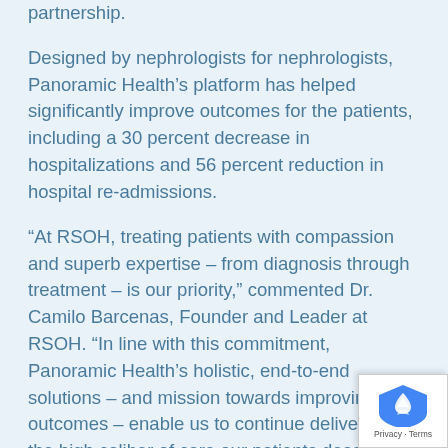partnership.
Designed by nephrologists for nephrologists, Panoramic Health's platform has helped significantly improve outcomes for the patients, including a 30 percent decrease in hospitalizations and 56 percent reduction in hospital re-admissions.
“At RSOH, treating patients with compassion and superb expertise – from diagnosis through treatment – is our priority,” commented Dr. Camilo Barcenas, Founder and Leader at RSOH. “In line with this commitment, Panoramic Health’s holistic, end-to-end solutions – and mission towards improving outcomes – enable us to continue delivering on the high caliber of care our patients deserve.”